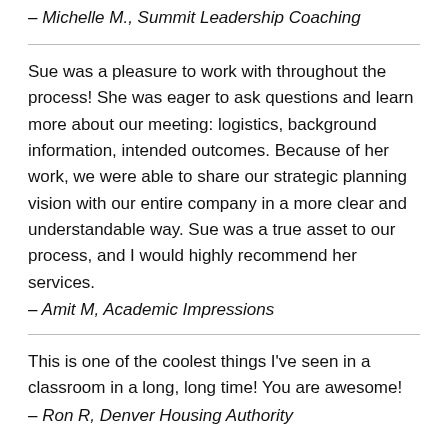– Michelle M., Summit Leadership Coaching
Sue was a pleasure to work with throughout the process! She was eager to ask questions and learn more about our meeting: logistics, background information, intended outcomes. Because of her work, we were able to share our strategic planning vision with our entire company in a more clear and understandable way. Sue was a true asset to our process, and I would highly recommend her services.
– Amit M, Academic Impressions
This is one of the coolest things I've seen in a classroom in a long, long time! You are awesome!
– Ron R, Denver Housing Authority